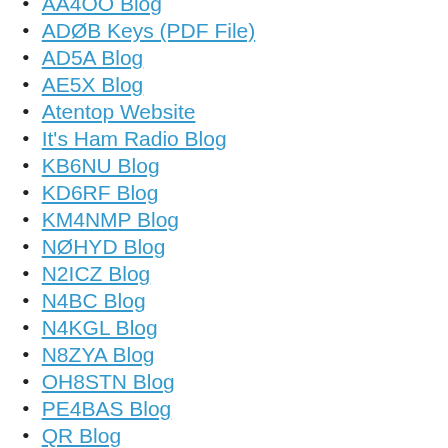AA4OO Blog
ADØB Keys (PDF File)
AD5A Blog
AE5X Blog
Atentop Website
It's Ham Radio Blog
KB6NU Blog
KD6RF Blog
KM4NMP Blog
NØHYD Blog
N2ICZ Blog
N4BC Blog
N4KGL Blog
N8ZYA Blog
OH8STN Blog
PE4BAS Blog
QR Blog